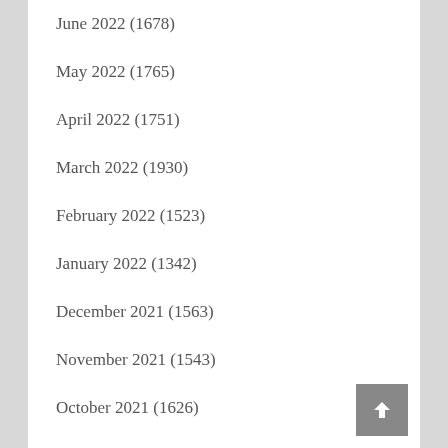June 2022 (1678)
May 2022 (1765)
April 2022 (1751)
March 2022 (1930)
February 2022 (1523)
January 2022 (1342)
December 2021 (1563)
November 2021 (1543)
October 2021 (1626)
September 2021 (1570)
August 2021 (1535)
July 2021 (1452)
June 2021 (1540)
May 2021 (1439)